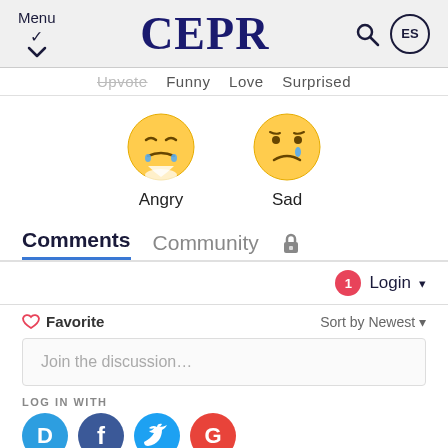Menu ∨   CEPR   🔍  ES
Upvote   Funny   Love   Surprised
[Figure (illustration): Two emoji faces: an angry crying face and a sad crying face, labeled 'Angry' and 'Sad']
Comments   Community   🔒
1  Login ▾
♡ Favorite   Sort by Newest ▾
Join the discussion…
LOG IN WITH
[Figure (logo): Social login icons: Disqus (D), Facebook (f), Twitter bird, Google (G)]